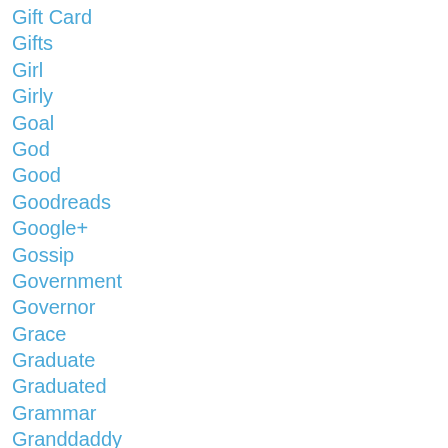Gift Card
Gifts
Girl
Girly
Goal
God
Good
Goodreads
Google+
Gossip
Government
Governor
Grace
Graduate
Graduated
Grammar
Granddaddy
Grandmother
Grandparents
Gratitude
Graveyard